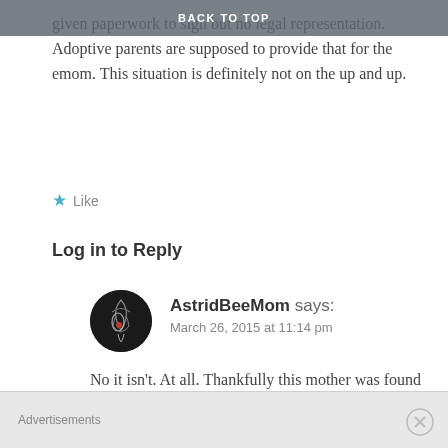BACK TO TOP
given paperwork to sign but no legal representation. Adoptive parents are supposed to provide that for the emom. This situation is definitely not on the up and up.
★ Like
Log in to Reply
AstridBeeMom says:
March 26, 2015 at 11:14 pm
No it isn't. At all. Thankfully this mother was found through our network and is getting the help she needs.
★ Like
Advertisements